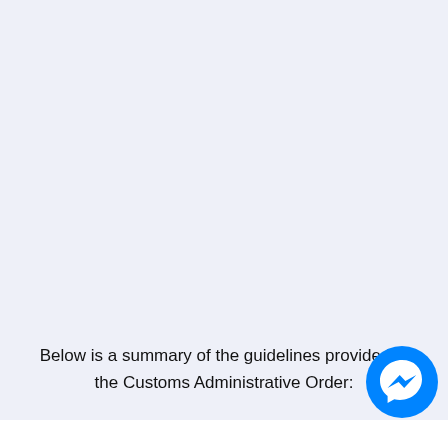Below is a summary of the guidelines provided in the Customs Administrative Order: